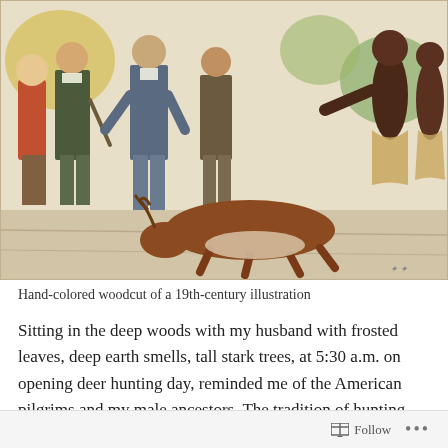[Figure (illustration): Hand-colored woodcut illustration showing a group of colonial-era settlers and Native Americans standing around a deer lying on the ground. The scene depicts a 19th-century artistic rendering of early American life with figures in period clothing and traditional Native dress.]
Hand-colored woodcut of a 19th-century illustration
Sitting in the deep woods with my husband with frosted leaves, deep earth smells, tall stark trees, at 5:30 a.m. on opening deer hunting day, reminded me of the American pilgrims and my male ancestors. The tradition of hunting deer to early settlers was serious business, often of almost
Follow ...